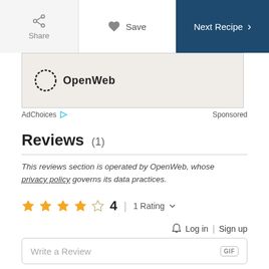[Figure (screenshot): Top navigation bar with Share, Save, and Next Recipe buttons]
[Figure (logo): OpenWeb logo inside an advertisement banner]
AdChoices   Sponsored
Reviews (1)
This reviews section is operated by OpenWeb, whose privacy policy governs its data practices.
★★★★☆ 4  |  1 Rating ∨
🔔 Log in | Sign up
Write a Review  GIF
Sort by Newest ∨